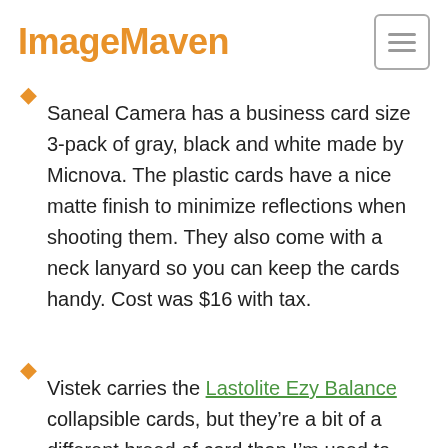ImageMaven
Saneal Camera has a business card size 3-pack of gray, black and white made by Micnova. The plastic cards have a nice matte finish to minimize reflections when shooting them. They also come with a neck lanyard so you can keep the cards handy. Cost was $16 with tax.
Vistek carries the Lastolite Ezy Balance collapsible cards, but they’re a bit of a different breed of card than I’m used to using. More on this later,